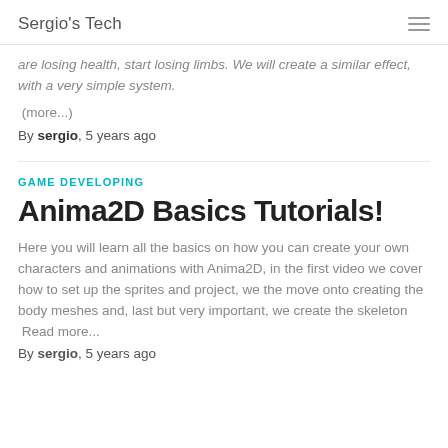Sergio's Tech
are losing health, start losing limbs. We will create a similar effect, with a very simple system.
(more...)
By sergio, 5 years ago
GAME DEVELOPING
Anima2D Basics Tutorials!
Here you will learn all the basics on how you can create your own characters and animations with Anima2D, in the first video we cover how to set up the sprites and project, we the move onto creating the body meshes and, last but very important, we create the skeleton
Read more...
By sergio, 5 years ago